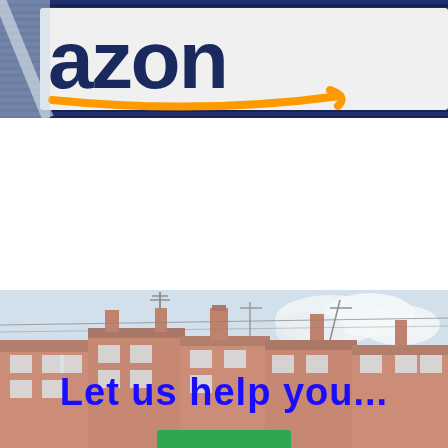[Figure (photo): Close-up photograph of an Amazon warehouse sign showing the Amazon logo (dark blue letters and orange arrow) on a white banner against dark blue ribbed metal siding]
[Figure (photo): Photograph of British terrace houses with brick chimneys and TV aerials against a cloudy sky, with the bold blue text 'Let us help you...' overlaid and a green button at the bottom]